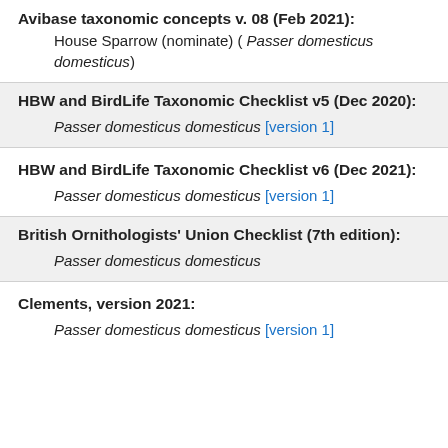Avibase taxonomic concepts v. 08 (Feb 2021):
House Sparrow (nominate) ( Passer domesticus domesticus)
HBW and BirdLife Taxonomic Checklist v5 (Dec 2020):
Passer domesticus domesticus [version 1]
HBW and BirdLife Taxonomic Checklist v6 (Dec 2021):
Passer domesticus domesticus [version 1]
British Ornithologists' Union Checklist (7th edition):
Passer domesticus domesticus
Clements, version 2021:
Passer domesticus domesticus [version 1]